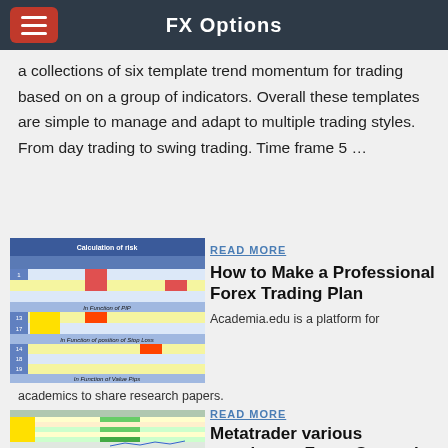FX Options
a collections of six template trend momentum for trading based on on a group of indicators. Overall these templates are simple to manage and adapt to multiple trading styles. From day trading to swing trading. Time frame 5 …
[Figure (screenshot): Screenshot of a spreadsheet titled 'Calculation of risk' with colored cells showing forex trading plan data]
READ MORE
How to Make a Professional Forex Trading Plan
Academia.edu is a platform for academics to share research papers.
[Figure (screenshot): Screenshot of a Metatrader spreadsheet with various colored rows and data columns]
READ MORE
Metatrader various templates - Forex Strategies
Popular Stock Trading Excel Templates and Spreadsheets Two of the toughest parts of stock trading are…